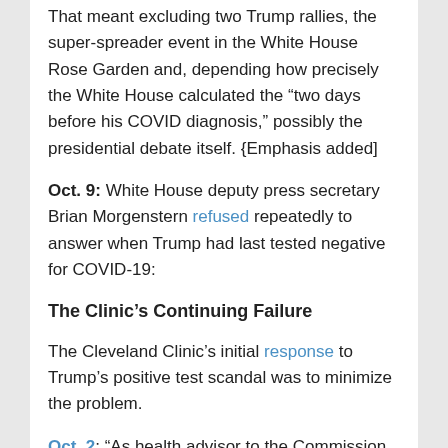That meant excluding two Trump rallies, the super-spreader event in the White House Rose Garden and, depending how precisely the White House calculated the “two days before his COVID diagnosis,” possibly the presidential debate itself. {Emphasis added]
Oct. 9: White House deputy press secretary Brian Morgenstern refused repeatedly to answer when Trump had last tested negative for COVID-19:
The Clinic’s Continuing Failure
The Cleveland Clinic’s initial response to Trump’s positive test scandal was to minimize the problem.
Oct. 2: “As health advisor to the Commission on Presidential Debates and the host site, we had requirements to maintain a safe environment that align with CDC guidelines – including social distancing, hand sanitizing, temperature checks and masking. Most importantly, everyone permitted inside the debate hall had to be negative for COVID-19 prior to each individual